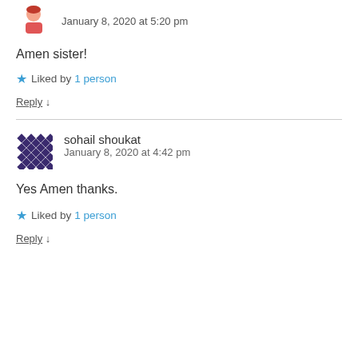January 8, 2020 at 5:20 pm
Amen sister!
★ Liked by 1 person
Reply ↓
sohail shoukat
January 8, 2020 at 4:42 pm
Yes Amen thanks.
★ Liked by 1 person
Reply ↓